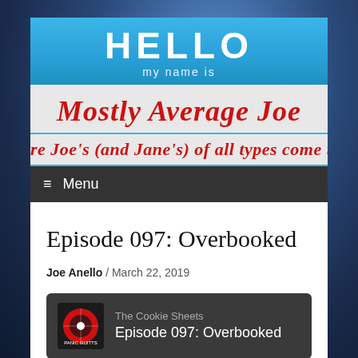[Figure (screenshot): Website screenshot of 'Mostly Average Joe' blog. Shows a 'HELLO my name is' style banner header with site title in red cursive, a scrolling tagline, navigation menu, episode title 'Episode 097: Overbooked', byline by Joe Anello on March 22 2019, and a podcast player card for 'The Cookie Sheets - Episode 097: Overbooked'.]